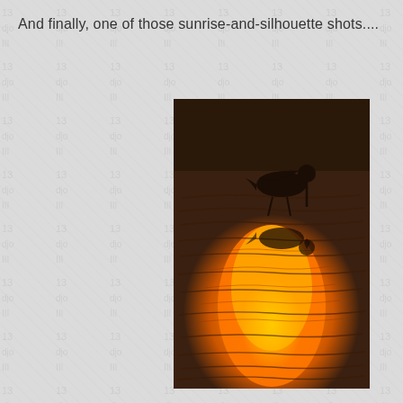And finally, one of those sunrise-and-silhouette shots....
[Figure (photo): A bird silhouette standing in shallow water with a brilliant orange and yellow sunrise reflected on the rippling water surface. The bird appears to be a wading shorebird with its beak pointed downward, and its reflection is visible in the water below.]